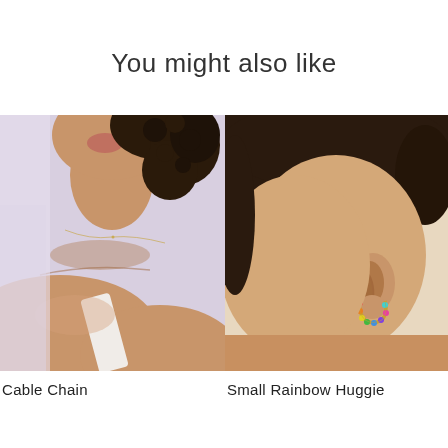You might also like
[Figure (photo): Close-up photo of a woman with curly hair wearing a delicate cable chain necklace, showing her neck and shoulder area, wearing a white top, soft purple background]
[Figure (photo): Close-up photo of a woman's ear wearing small rainbow huggie hoop earrings with colorful gemstones, hair pulled back, warm skin tone]
Cable Chain
Small Rainbow Huggie